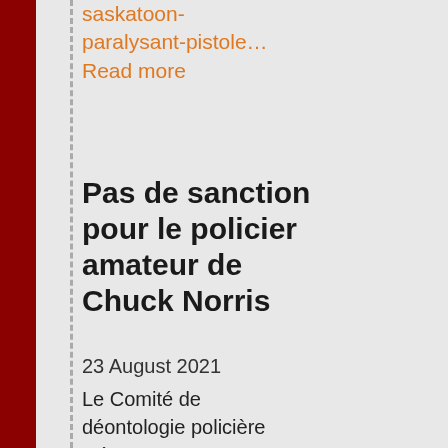saskatoon-paralysant-pistole… Read more
Pas de sanction pour le policier amateur de Chuck Norris
23 August 2021
Le Comité de déontologie policière n'émet aucun manquement disciplinaire en lien avec la photo montrant l'acteur Chuck Norris lourdement armé placa